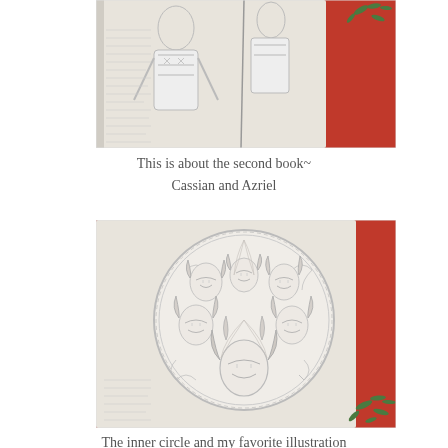[Figure (photo): A coloring book open on a red surface with festive green sprigs, showing pencil-sketch illustrations of two armored male fantasy characters (Cassian and Azriel)]
This is about the second book~
Cassian and Azriel
[Figure (photo): A coloring book open on a red surface with festive green sprigs, showing a circular medallion-style pencil-sketch illustration featuring multiple fantasy characters arranged in a group (the inner circle)]
The inner circle and my favorite illustration